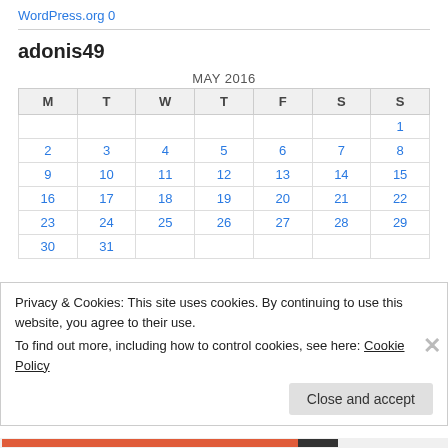WordPress.org 0
adonis49
| M | T | W | T | F | S | S |
| --- | --- | --- | --- | --- | --- | --- |
|  |  |  |  |  |  | 1 |
| 2 | 3 | 4 | 5 | 6 | 7 | 8 |
| 9 | 10 | 11 | 12 | 13 | 14 | 15 |
| 16 | 17 | 18 | 19 | 20 | 21 | 22 |
| 23 | 24 | 25 | 26 | 27 | 28 | 29 |
| 30 | 31 |  |  |  |  |  |
Privacy & Cookies: This site uses cookies. By continuing to use this website, you agree to their use.
To find out more, including how to control cookies, see here: Cookie Policy
Close and accept